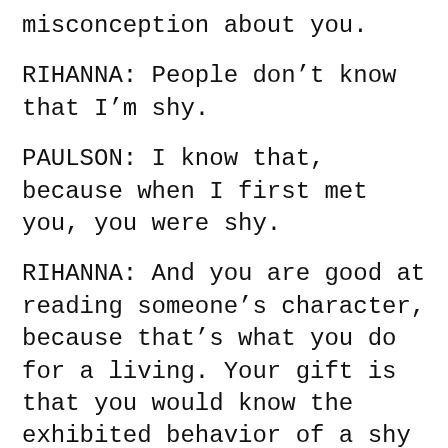misconception about you.
RIHANNA: People don't know that I'm shy.
PAULSON: I know that, because when I first met you, you were shy.
RIHANNA: And you are good at reading someone's character, because that's what you do for a living. Your gift is that you would know the exhibited behavior of a shy person. Because I kind of pretend it's not happening, people read me as being confident. But I'm so shy I don't even want you to know I'm shy.